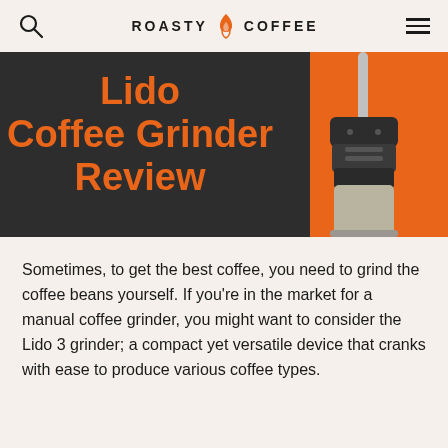ROASTY COFFEE
[Figure (illustration): Hero banner for Lido Coffee Grinder Review article. Dark charcoal background on left with orange text reading 'Lido Coffee Grinder Review', orange background on right showing a manual coffee grinder (Lido 3) in silver and black, with a wavy black curve dividing the two halves.]
Sometimes, to get the best coffee, you need to grind the coffee beans yourself. If you're in the market for a manual coffee grinder, you might want to consider the Lido 3 grinder; a compact yet versatile device that cranks with ease to produce various coffee types.